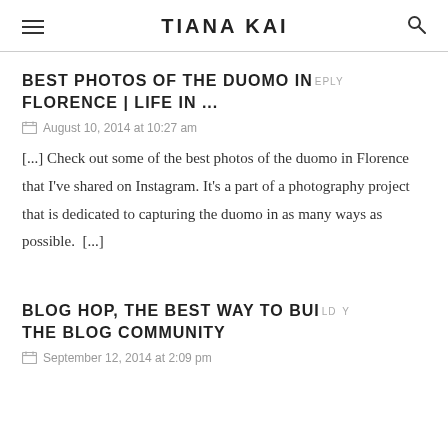TIANA KAI
BEST PHOTOS OF THE DUOMO IN FLORENCE | LIFE IN ...
August 10, 2014 at 10:27 am
[...] Check out some of the best photos of the duomo in Florence that I've shared on Instagram. It's a part of a photography project that is dedicated to capturing the duomo in as many ways as possible.  [...]
BLOG HOP, THE BEST WAY TO BUILD THE BLOG COMMUNITY
September 12, 2014 at 2:09 pm